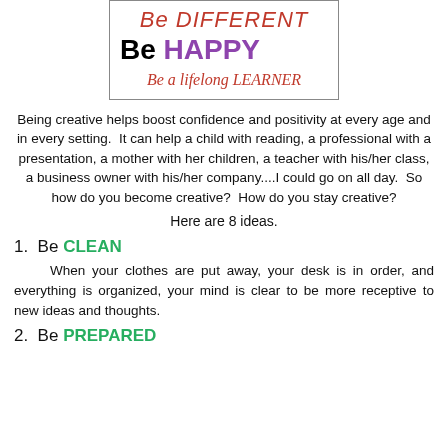[Figure (illustration): A decorative box with motivational phrases: 'Be DIFFERENT' in red cursive/handwritten style, 'Be HAPPY' in bold black and purple, 'Be a lifelong LEARNER' in red cursive/mixed style.]
Being creative helps boost confidence and positivity at every age and in every setting.  It can help a child with reading, a professional with a presentation, a mother with her children, a teacher with his/her class, a business owner with his/her company....I could go on all day.  So how do you become creative?  How do you stay creative?
Here are 8 ideas.
1.  Be CLEAN
When your clothes are put away, your desk is in order, and everything is organized, your mind is clear to be more receptive to new ideas and thoughts.
2.  Be PREPARED